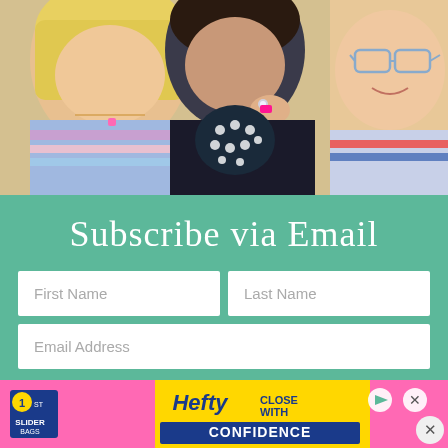[Figure (photo): Three women taking a selfie together outdoors. Left woman has blonde hair and wears a colorful striped top with a pink necklace. Center woman wears a black top with polka-dot pattern and has a ring on her finger. Right woman wears glasses and a patterned top and is smiling.]
Subscribe via Email
First Name
Last Name
Email Address
[Figure (photo): Advertisement banner for Hefty Slider bags with text 'Hefty CLOSE WITH CONFIDENCE' on a pink and yellow background.]